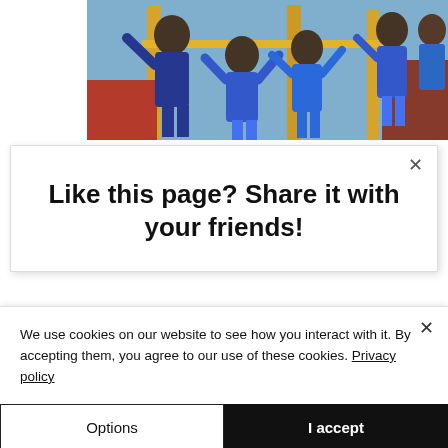[Figure (photo): Group of children in blue school uniforms smiling and waving on a playground structure]
Like this page? Share it with your friends!
We use cookies on our website to see how you interact with it. By accepting them, you agree to our use of these cookies. Privacy policy
Options
I accept